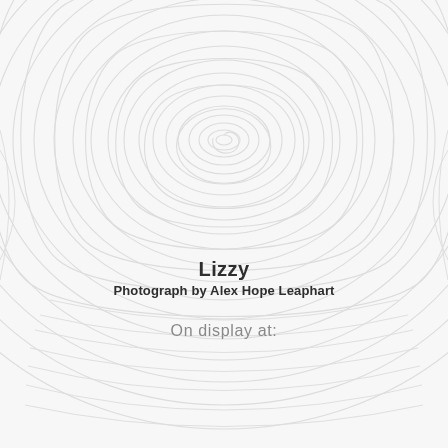[Figure (illustration): Large faint fingerprint pattern watermark covering most of the upper and middle portion of the page, rendered in very light gray lines on a light gray background]
Lizzy
Photograph by Alex Hope Leaphart
On display at: